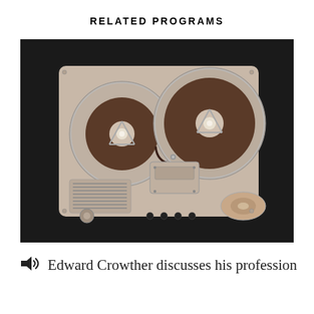RELATED PROGRAMS
[Figure (photo): A reel-to-reel tape recorder photographed from above against a dark/black background. The device is cream/beige colored, featuring two large transparent reels with magnetic tape, a speaker grille on the lower left, control knobs and buttons along the bottom, and a central tape head mechanism.]
Edward Crowther discusses his profession